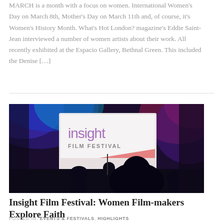MARCH is a month with a focus on women. International Women's Day on March 8th, Mother's Day on March 11th and, of course, it's Women's History Month. What's Hot London? magazine's Eddie Saint-Jean interviewed a number of women artists about their work. All recently exhibited at the Espacio Gallery, Bethnal Green. This included the Denise […]
[Figure (photo): Dark photo of a venue stage with a projected screen displaying 'insight FILM FESTIVAL' in purple and red text. People seated in silhouette in the foreground.]
Insight Film Festival: Women Film-makers Explore Faith
POSTED IN: EVENTS & FESTIVALS, HIGHLIGHTS